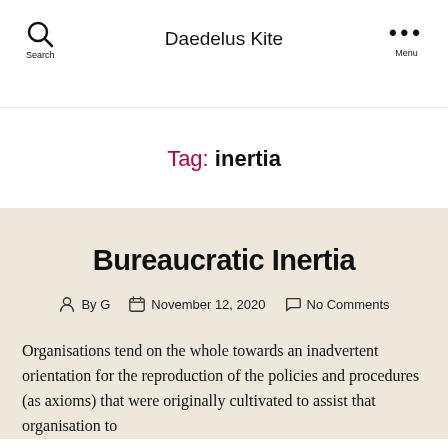Daedelus Kite | Search | Menu
Tag: inertia
Bureaucratic Inertia
By G  November 12, 2020  No Comments
Organisations tend on the whole towards an inadvertent orientation for the reproduction of the policies and procedures (as axioms) that were originally cultivated to assist that organisation to